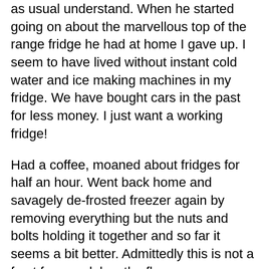as usual understand. When he started going on about the marvellous top of the range fridge he had at home I gave up. I seem to have lived without instant cold water and ice making machines in my fridge. We have bought cars in the past for less money. I just want a working fridge!
Had a coffee, moaned about fridges for half an hour. Went back home and savagely de-frosted freezer again by removing everything but the nuts and bolts holding it together and so far it seems a bit better. Admittedly this is not a frost free model as the floor was swimming, G was lying on the floor with a hair dryer moaning his head off about icebergs, and looked as if he had been out in the rain. I just closed the door and put some music on.
We were lost on the outskirts of Clitheroe,